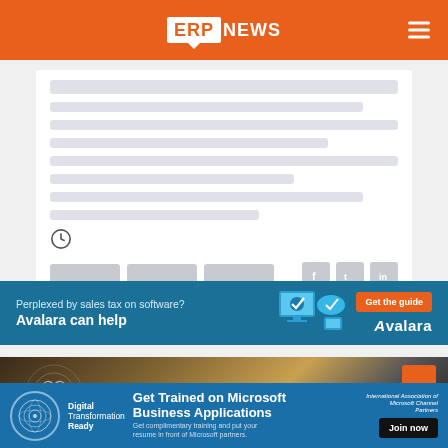ERP NEWS
[Figure (screenshot): Article card with placeholder content blocks, clock icon, tag buttons, and social sharing icons (Facebook, Twitter, LinkedIn)]
[Figure (screenshot): Avalara advertisement banner: 'Perplexed by sales tax on software? Avalara can help' with 'Get the guide' button and Avalara logo]
[Figure (photo): Article image showing a person with digital brain graphic overlay and orange accent element]
[Figure (screenshot): IAMCP bottom banner ad: 'Get Trained on Microsoft Business Applications. Get complimentary training and put your resume in front of Microsoft partners. Join now' with Digital Transformation Ready logo and International Association of Microsoft Channel Partners logo]